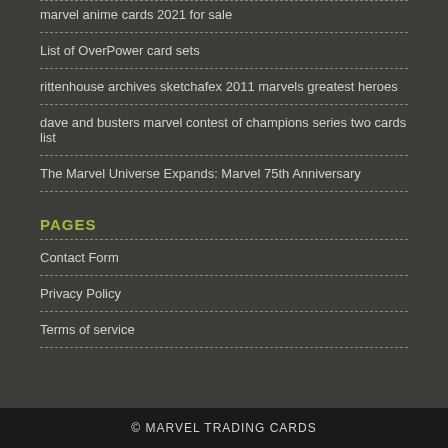marvel anime cards 2021 for sale
List of OverPower card sets
rittenhouse archives sketchafex 2011 marvels greatest heroes
dave and busters marvel contest of champions series two cards list
The Marvel Universe Expands: Marvel 75th Anniversary
PAGES
Contact Form
Privacy Policy
Terms of service
© MARVEL TRADING CARDS